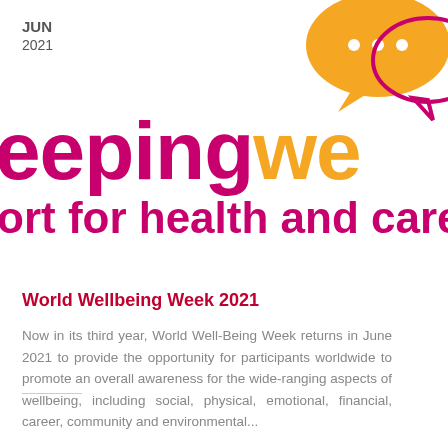JUN
2021
[Figure (illustration): Two overlapping speech bubbles: a large orange filled bubble and a smaller pink/magenta outline bubble, top-right corner of page]
eepingw ort for health and care
World Wellbeing Week 2021
Now in its third year, World Well-Being Week returns in June 2021 to provide the opportunity for participants worldwide to promote an overall awareness for the wide-ranging aspects of wellbeing, including social, physical, emotional, financial, career, community and environmental...